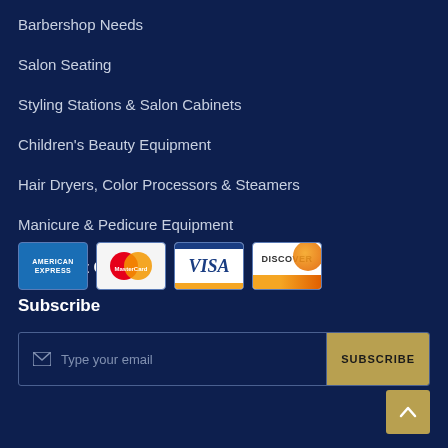Barbershop Needs
Salon Seating
Styling Stations & Salon Cabinets
Children's Beauty Equipment
Hair Dryers, Color Processors & Steamers
Manicure & Pedicure Equipment
Payment Options
[Figure (logo): American Express, MasterCard, Visa, and Discover payment card logos displayed in a row]
Subscribe
Type your email  SUBSCRIBE